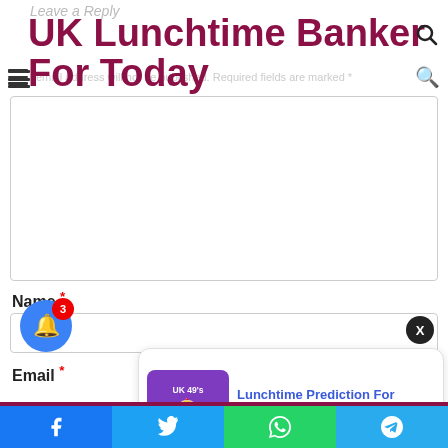Leave a Reply
UK Lunchtime Banker For Today
email address will not be published. Required fields are marked *
[Figure (screenshot): Comment text area input box]
Name *
[Figure (screenshot): Name input field with X close button]
Email *
[Figure (screenshot): Notification popup: Lunchtime Prediction For Today 22 August 2022 - 8 hours ago, with UK 49's Lunchtime Predictions thumbnail]
[Figure (screenshot): Blue bell notification button with badge count 3]
Twitter | WhatsApp | Telegram social share bar